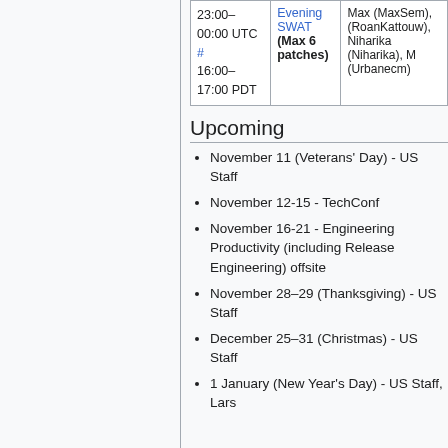| Time | Type | Names |
| --- | --- | --- |
| 23:00–00:00 UTC
#
16:00–17:00 PDT | Evening SWAT
(Max 6 patches) | Max (MaxSem), (RoanKattouw), Niharika (Niharika), M (Urbanecm) |
Upcoming
November 11 (Veterans' Day) - US Staff
November 12-15 - TechConf
November 16-21 - Engineering Productivity (including Release Engineering) offsite
November 28–29 (Thanksgiving) - US Staff
December 25–31 (Christmas) - US Staff
1 January (New Year's Day) - US Staff, Lars